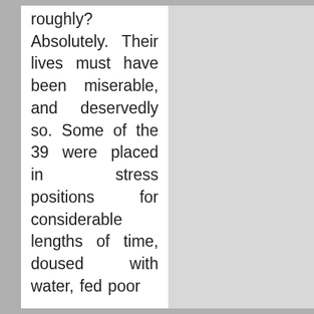roughly? Absolutely. Their lives must have been miserable, and deservedly so. Some of the 39 were placed in stress positions for considerable lengths of time, doused with water, fed poor